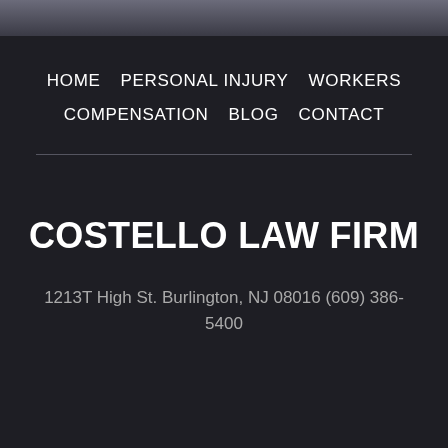HOME   PERSONAL INJURY   WORKERS COMPENSATION   BLOG   CONTACT
COSTELLO LAW FIRM
1213T High St. Burlington, NJ 08016 (609) 386-5400